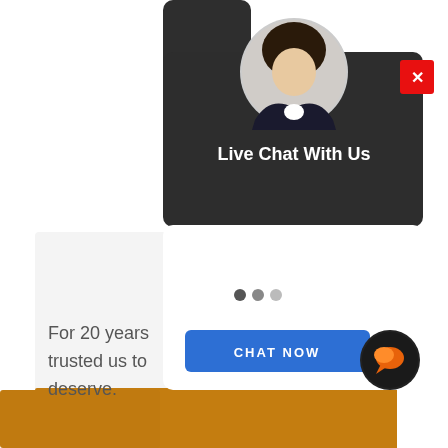[Figure (screenshot): Live chat widget popup overlaid on a webpage. Dark header bubble with 'Live Chat With Us' title, avatar photo of a woman at top, red close button (X), white chat body area with typing dots animation, blue 'CHAT NOW' button, and a dark circular chat icon. Background shows a light gray panel with orange section and truncated text 'For 20 years... trusted us to... deserve.']
For 20 years... trusted us to... deserve.
Live Chat With Us